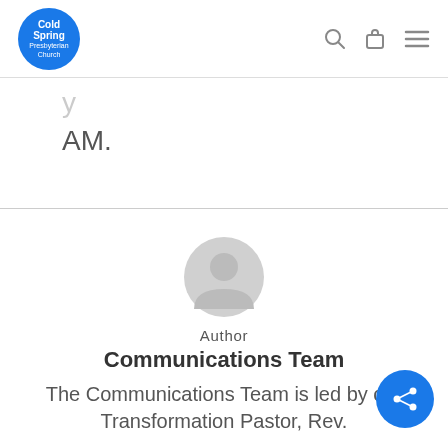[Figure (logo): Cold Spring Presbyterian Church circular blue logo]
AM.
Author
[Figure (illustration): Default user avatar placeholder icon in gray]
Author
Communications Team
The Communications Team is led by our Transformation Pastor, Rev.